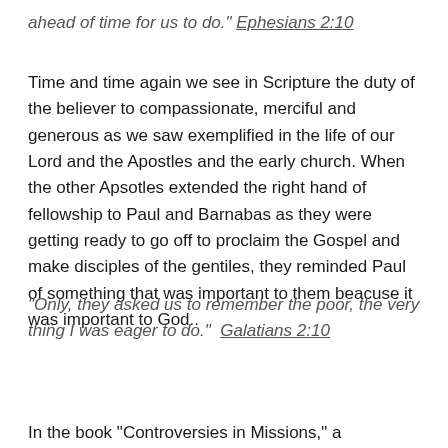ahead of time for us to do." Ephesians 2:10
Time and time again we see in Scripture the duty of the believer to compassionate, merciful and generous as we saw exemplified in the life of our Lord and the Apostles and the early church. When the other Apsotles extended the right hand of fellowship to Paul and Barnabas as they were getting ready to go off to proclaim the Gospel and make disciples of the gentiles, they reminded Paul of something that was important to them beacuse it was important to God..
“Only, they asked us to remember the poor, the very thing I was eager to do.”  Galatians 2:10
In the book “Controversies in Missions,” a compilation of